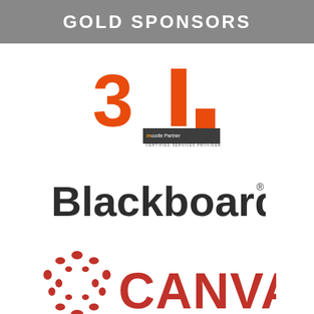GOLD SPONSORS
[Figure (logo): Tresipunt logo with large orange '3', orange vertical bar, tresipunt.com text, orange square, Moodle Partner - Certified Services Provider badge]
[Figure (logo): Blackboard logo in dark charcoal sans-serif font with registered trademark symbol]
[Figure (logo): Canvas logo with red circular icon and large red bold CANVAS text]